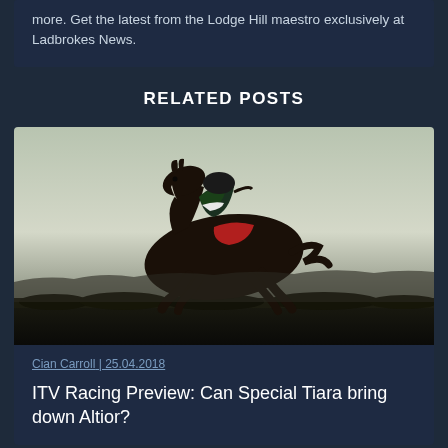more. Get the latest from the Lodge Hill maestro exclusively at Ladbrokes News.
RELATED POSTS
[Figure (photo): Horse and jockey racing silhouette photograph, dark horse jumping over a fence against a pale sky background]
Cian Carroll | 25.04.2018
ITV Racing Preview: Can Special Tiara bring down Altior?